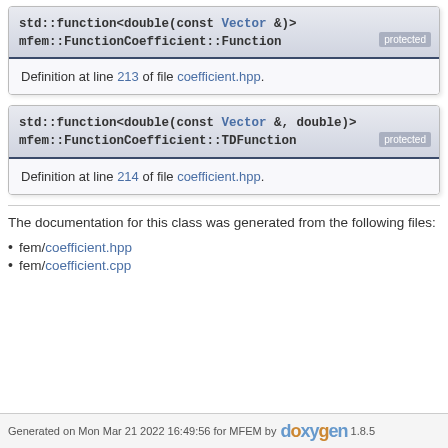std::function<double(const Vector &)> mfem::FunctionCoefficient::Function [protected]
Definition at line 213 of file coefficient.hpp.
std::function<double(const Vector &, double)> mfem::FunctionCoefficient::TDFunction [protected]
Definition at line 214 of file coefficient.hpp.
The documentation for this class was generated from the following files:
fem/coefficient.hpp
fem/coefficient.cpp
Generated on Mon Mar 21 2022 16:49:56 for MFEM by doxygen 1.8.5